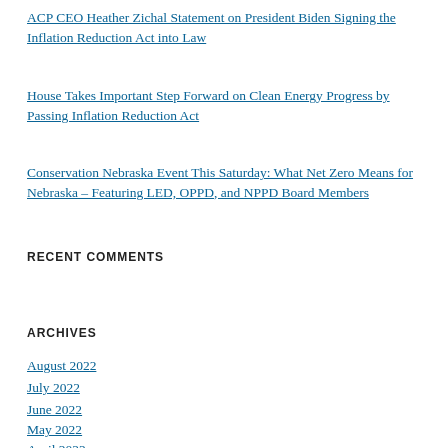ACP CEO Heather Zichal Statement on President Biden Signing the Inflation Reduction Act into Law
House Takes Important Step Forward on Clean Energy Progress by Passing Inflation Reduction Act
Conservation Nebraska Event This Saturday: What Net Zero Means for Nebraska – Featuring LED, OPPD, and NPPD Board Members
RECENT COMMENTS
ARCHIVES
August 2022
July 2022
June 2022
May 2022
April 2022